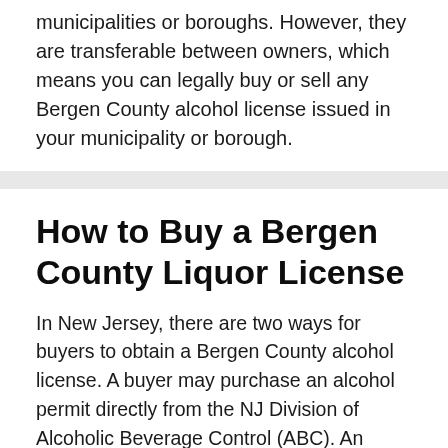municipalities or boroughs. However, they are transferable between owners, which means you can legally buy or sell any Bergen County alcohol license issued in your municipality or borough.
How to Buy a Bergen County Liquor License
In New Jersey, there are two ways for buyers to obtain a Bergen County alcohol license. A buyer may purchase an alcohol permit directly from the NJ Division of Alcoholic Beverage Control (ABC). An alternative option is to use a liquor license broker, such as Liquor License Auctioneers, to help you secure a Bergen County liquor license on the open market.
There is a cap on the number of licenses in each